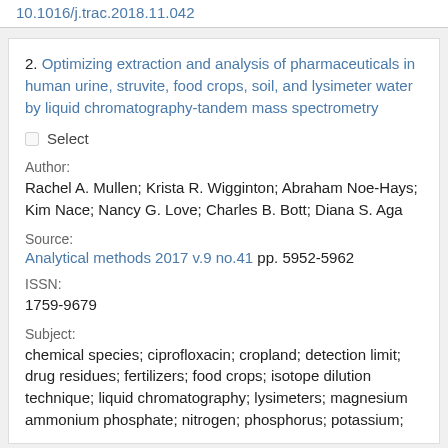10.1016/j.trac.2018.11.042
2. Optimizing extraction and analysis of pharmaceuticals in human urine, struvite, food crops, soil, and lysimeter water by liquid chromatography-tandem mass spectrometry
Select
Author:
Rachel A. Mullen; Krista R. Wigginton; Abraham Noe-Hays; Kim Nace; Nancy G. Love; Charles B. Bott; Diana S. Aga
Source:
Analytical methods 2017 v.9 no.41 pp. 5952-5962
ISSN:
1759-9679
Subject:
chemical species; ciprofloxacin; cropland; detection limit; drug residues; fertilizers; food crops; isotope dilution technique; liquid chromatography; lysimeters; magnesium ammonium phosphate; nitrogen; phosphorus; potassium;